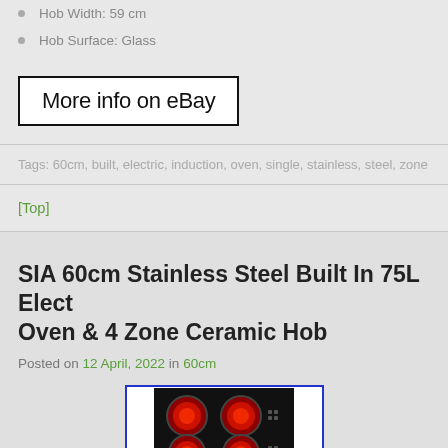Hob Width: 59 cm
Hob Surface: Glass
[Figure (screenshot): Button with black border on white background reading 'More info on eBay']
Tags: 60cm, built, electric, induction, oven, single, stainless, steel, zone
[Top]
SIA 60cm Stainless Steel Built In 75L Electric Oven & 4 Zone Ceramic Hob
Posted on 12 April, 2022 in 60cm
[Figure (photo): Photo of a black ceramic hob with 4 red heating zones visible, shown against white background, within blue border frame]